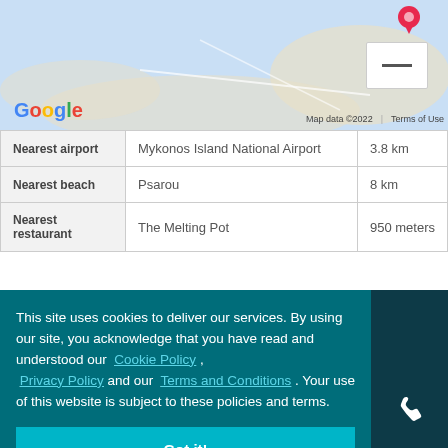[Figure (screenshot): Google Maps screenshot showing Mykonos area with Blue Collection label and map pins]
|  | Location | Distance |
| --- | --- | --- |
| Nearest airport | Mykonos Island National Airport | 3.8 km |
| Nearest beach | Psarou | 8 km |
| Nearest restaurant | The Melting Pot | 950 meters |
This site uses cookies to deliver our services. By using our site, you acknowledge that you have read and understood our Cookie Policy , Privacy Policy and our Terms and Conditions . Your use of this website is subject to these policies and terms.
Got it!